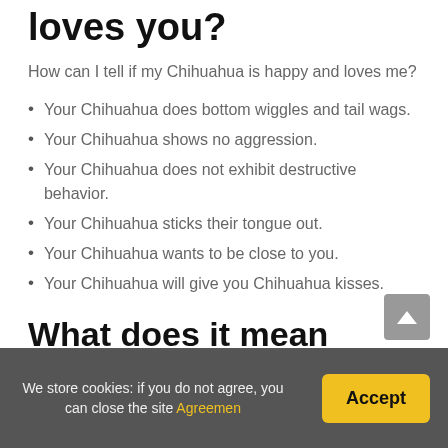loves you?
How can I tell if my Chihuahua is happy and loves me?
Your Chihuahua does bottom wiggles and tail wags.
Your Chihuahua shows no aggression.
Your Chihuahua does not exhibit destructive behavior.
Your Chihuahua sticks their tongue out.
Your Chihuahua wants to be close to you.
Your Chihuahua will give you Chihuahua kisses.
What does it mean when a dog puts his paw on you?
If your dog puts his paw on you, it can be his way of saying " I love you." If your dog is showing signs of anxiety while pawing at you, it could mean he is feeling insecure and looking for you to comfort him. However, if continual pawing is related to...
We store cookies: if you do not agree, you can close the site Agreemen
Accept